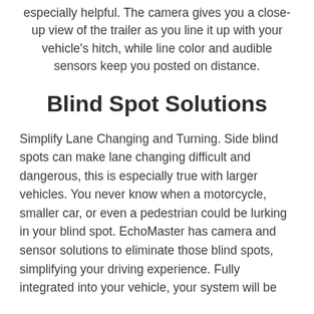especially helpful. The camera gives you a close-up view of the trailer as you line it up with your vehicle's hitch, while line color and audible sensors keep you posted on distance.
Blind Spot Solutions
Simplify Lane Changing and Turning. Side blind spots can make lane changing difficult and dangerous, this is especially true with larger vehicles. You never know when a motorcycle, smaller car, or even a pedestrian could be lurking in your blind spot. EchoMaster has camera and sensor solutions to eliminate those blind spots, simplifying your driving experience. Fully integrated into your vehicle, your system will be